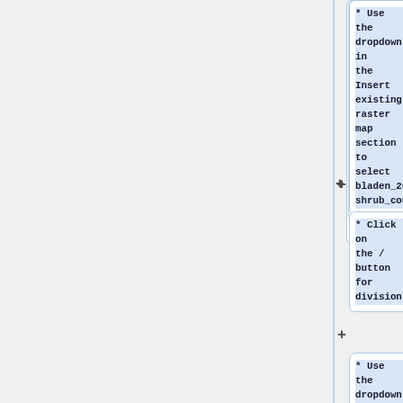* Use the dropdown in the Insert existing raster map section to select bladen_20ft_shrub_count
* Click on the / button for division
* Use the dropdown to select bladen_20ft_count
Now things get